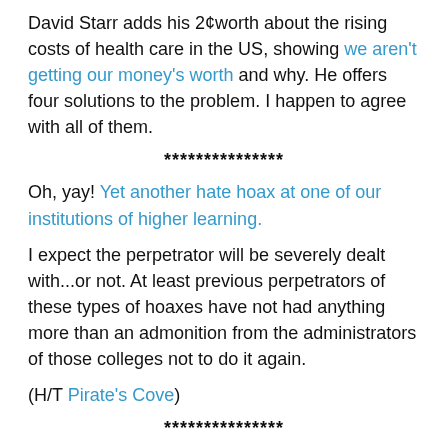David Starr adds his 2¢worth about the rising costs of health care in the US, showing we aren't getting our money's worth and why. He offers four solutions to the problem. I happen to agree with all of them.
***************
Oh, yay! Yet another hate hoax at one of our institutions of higher learning.
I expect the perpetrator will be severely dealt with...or not. At least previous perpetrators of these types of hoaxes have not had anything more than an admonition from the administrators of those colleges not to do it again.
(H/T Pirate's Cove)
***************
This doesn't bode well for fast food workers in the US.
Due to a labor shortage in Singapore, one restaurant is using robots to fill the jobs normally taken by humans, in this case delivering food orders to their patrons.